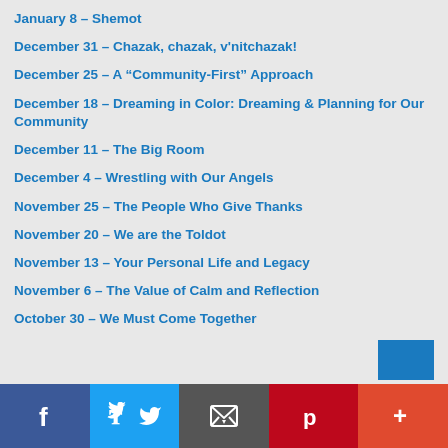January 8 – Shemot
December 31 – Chazak, chazak, v'nitchazak!
December 25 – A “Community-First” Approach
December 18 – Dreaming in Color: Dreaming & Planning for Our Community
December 11 – The Big Room
December 4 – Wrestling with Our Angels
November 25 – The People Who Give Thanks
November 20 – We are the Toldot
November 13 – Your Personal Life and Legacy
November 6 – The Value of Calm and Reflection
October 30 – We Must Come Together